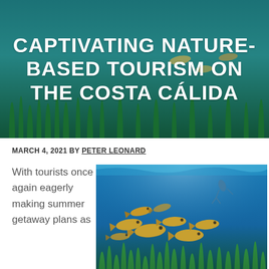[Figure (photo): Underwater photo showing seagrass and fish viewed from below, used as hero banner background]
CAPTIVATING NATURE-BASED TOURISM ON THE COSTA CÁLIDA
MARCH 4, 2021 BY PETER LEONARD
With tourists once again eagerly making summer getaway plans as
[Figure (photo): Underwater photo showing a school of yellow-brown fish swimming above seagrass with a scuba diver visible in the blue water above]